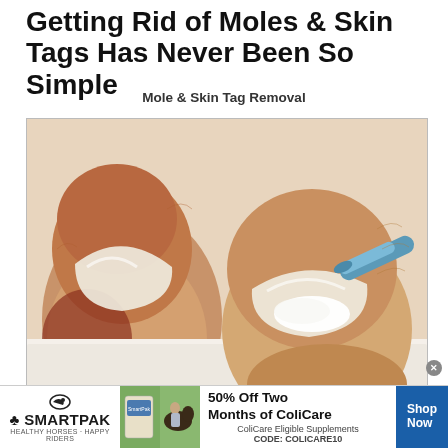Getting Rid of Moles & Skin Tags Has Never Been So Simple
Mole & Skin Tag Removal
[Figure (illustration): Illustrated close-up image of two toes with thick nails; a blue pen-like applicator applying white cream to the right toe nail area, on a white surface background.]
[Figure (infographic): SmartPak advertisement banner: SmartPak logo with horse on left, product image and horse/rider photo in center, text '50% Off Two Months of ColiCare, ColiCare Eligible Supplements, CODE: COLICARE10', blue 'Shop Now' button on right.]